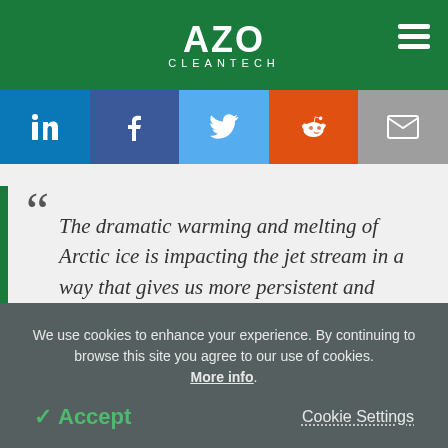AZO CLEANTECH
[Figure (infographic): Social sharing bar with LinkedIn, Facebook, Twitter, Reddit, and Email buttons]
The dramatic warming and melting of Arctic ice is impacting the jet stream in a way that gives us more persistent and damaging weather extremes.
We use cookies to enhance your experience. By continuing to browse this site you agree to our use of cookies. More info.
✓ Accept   Cookie Settings